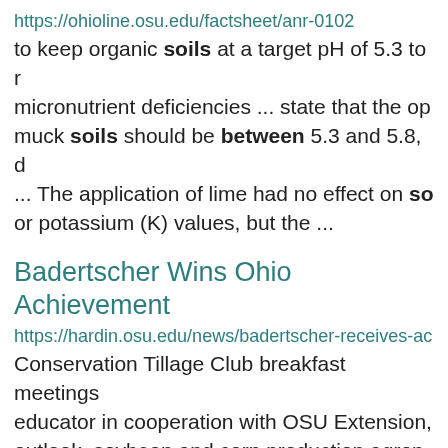https://ohioline.osu.edu/factsheet/anr-0102
to keep organic soils at a target pH of 5.3 to micronutrient deficiencies ... state that the op muck soils should be between 5.3 and 5.8, d ... The application of lime had no effect on so or potassium (K) values, but the ...
Badertscher Wins Ohio Achievement
https://hardin.osu.edu/news/badertscher-receives-ac
Conservation Tillage Club breakfast meetings educator in cooperation with OSU Extension, outlook, soybean and corn production agron or conservation issues, and ...
Homecoming Registration Op...